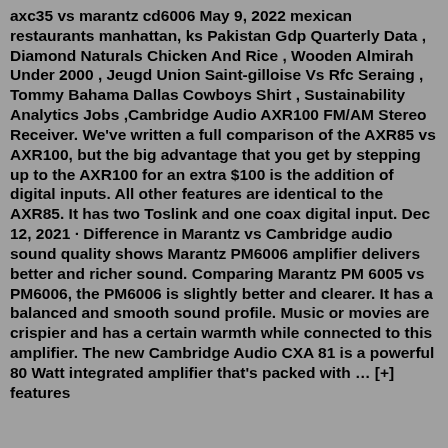axc35 vs marantz cd6006 May 9, 2022 mexican restaurants manhattan, ks Pakistan Gdp Quarterly Data , Diamond Naturals Chicken And Rice , Wooden Almirah Under 2000 , Jeugd Union Saint-gilloise Vs Rfc Seraing , Tommy Bahama Dallas Cowboys Shirt , Sustainability Analytics Jobs ,Cambridge Audio AXR100 FM/AM Stereo Receiver. We've written a full comparison of the AXR85 vs AXR100, but the big advantage that you get by stepping up to the AXR100 for an extra $100 is the addition of digital inputs. All other features are identical to the AXR85. It has two Toslink and one coax digital input. Dec 12, 2021 · Difference in Marantz vs Cambridge audio sound quality shows Marantz PM6006 amplifier delivers better and richer sound. Comparing Marantz PM 6005 vs PM6006, the PM6006 is slightly better and clearer. It has a balanced and smooth sound profile. Music or movies are crispier and has a certain warmth while connected to this amplifier. The new Cambridge Audio CXA 81 is a powerful 80 Watt integrated amplifier that's packed with … [+] features